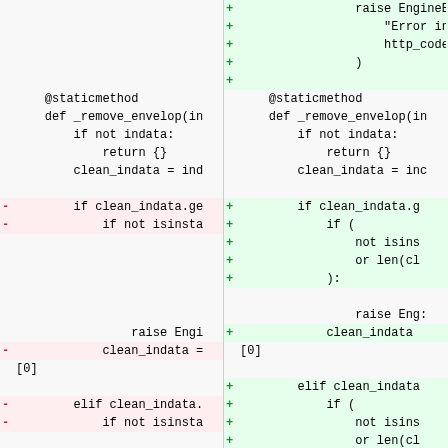[Figure (screenshot): A side-by-side code diff showing Python code changes. Left column shows removed lines (red background, minus markers) and unchanged lines. Right column shows added lines (green background, plus markers) and unchanged lines. The diff shows changes to a _remove_envelop method including modifications to isinstance checks and condition formatting.]